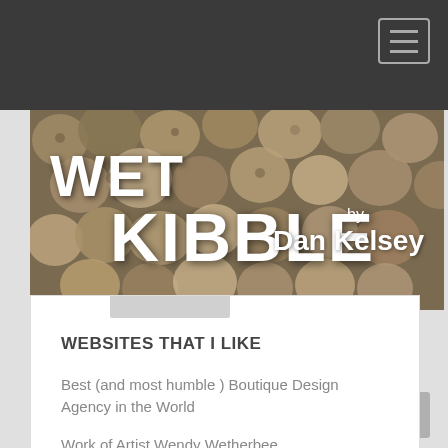[Figure (screenshot): Website screenshot showing 'Wet Kibble by Dan Kelsey' blog header with hamburger menu button in top right, banner image with pebble/kibble texture background]
WET KIBBLE by Dan Kelsey
WEBSITES THAT I LIKE
Best (and most humble ) Boutique Design Agency in the World
Work of Artist Wendy Wetherbee